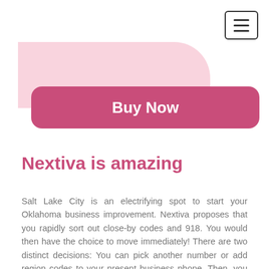[Figure (other): Hamburger menu button icon in top right corner, three horizontal lines inside a rounded rectangle border]
[Figure (other): Light pink rounded background shape in upper left area]
[Figure (other): Pink rounded rectangle Buy Now button]
Nextiva is amazing
Salt Lake City is an electrifying spot to start your Oklahoma business improvement. Nextiva proposes that you rapidly sort out close-by codes and 918. You would then have the choice to move immediately! There are two distinct decisions: You can pick another number or add region codes to your present business phone. Then, you will have your new phone structure ready for use.